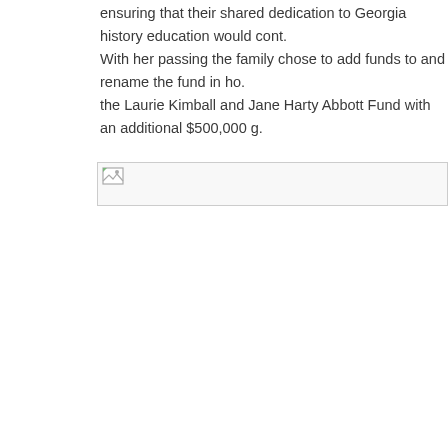ensuring that their shared dedication to Georgia history education would cont... With her passing the family chose to add funds to and rename the fund in ho... the Laurie Kimball and Jane Harty Abbott Fund with an additional $500,000 g...
[Figure (photo): Broken/missing image placeholder with small icon in top-left corner]
[Figure (other): Contrast toggle button (half-black, half-white circle icon) on left sidebar]
[Figure (other): Text size toggle button (aA icon) on left sidebar]